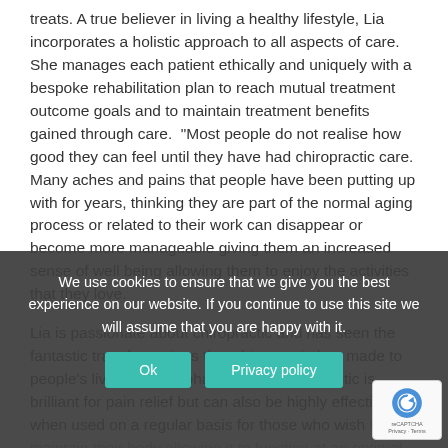treats. A true believer in living a healthy lifestyle, Lia incorporates a holistic approach to all aspects of care. She manages each patient ethically and uniquely with a bespoke rehabilitation plan to reach mutual treatment outcome goals and to maintain treatment benefits gained through care.  "Most people do not realise how good they can feel until they have had chiropractic care. Many aches and pains that people have been putting up with for years, thinking they are part of the normal aging process or related to their work can disappear or become more manageable giving them an increased sense of well being allowing them to enjoy the activities that they love.
Lia is passionate about chiropractic and has seen the fantastic transformations that chiropractic has made to people's lives. She emphasises that chiropractic is brilliant for pain relief but can also be highly effective when used on a regular basis for those who wish to maintain their body allowing it to function at an optimal state. "I find... chiropractic. We are creating so many health problems for ourselves, many of which can be prevented or at least partly prevented by a slight change in lifestyle and regular Chirop care."
We use cookies to ensure that we give you the best experience on our website. If you continue to use this site we will assume that you are happy with it.